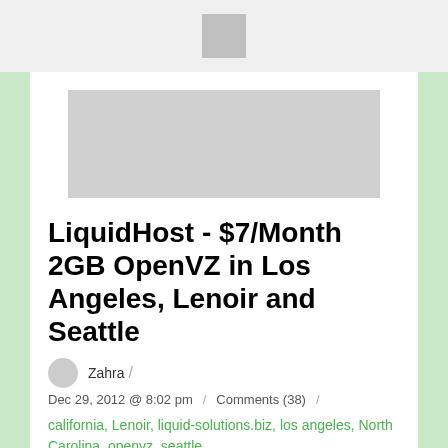[Figure (other): Website header bar with small square logo/icon centered]
[Figure (other): Gray advertisement banner placeholder]
LiquidHost - $7/Month 2GB OpenVZ in Los Angeles, Lenoir and Seattle
Zahra
Dec 29, 2012 @ 8:02 pm / Comments (38) /
california, Lenoir, liquid-solutions.biz, los angeles, North Carolina, openvz, seattle
Share Tweet Share Reddit